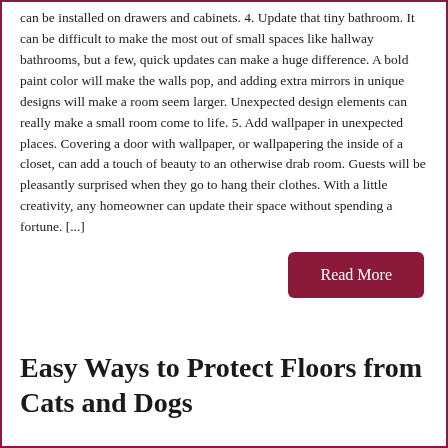can be installed on drawers and cabinets. 4. Update that tiny bathroom. It can be difficult to make the most out of small spaces like hallway bathrooms, but a few, quick updates can make a huge difference. A bold paint color will make the walls pop, and adding extra mirrors in unique designs will make a room seem larger. Unexpected design elements can really make a small room come to life. 5. Add wallpaper in unexpected places. Covering a door with wallpaper, or wallpapering the inside of a closet, can add a touch of beauty to an otherwise drab room. Guests will be pleasantly surprised when they go to hang their clothes. With a little creativity, any homeowner can update their space without spending a fortune. [...]
Read More
Easy Ways to Protect Floors from Cats and Dogs